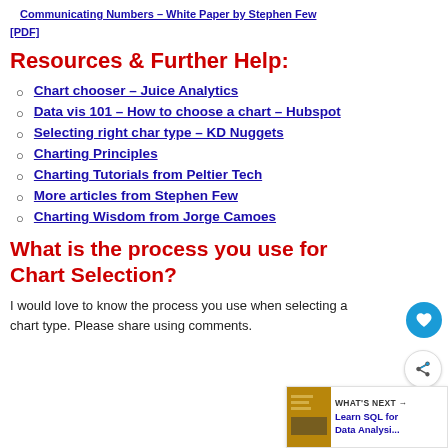Communicating Numbers – White Paper by Stephen Few [PDF]
Resources & Further Help:
Chart chooser – Juice Analytics
Data vis 101 – How to choose a chart – Hubspot
Selecting right char type – KD Nuggets
Charting Principles
Charting Tutorials from Peltier Tech
More articles from Stephen Few
Charting Wisdom from Jorge Camoes
What is the process you use for Chart Selection?
I would love to know the process you use when selecting a chart type. Please share using comments.